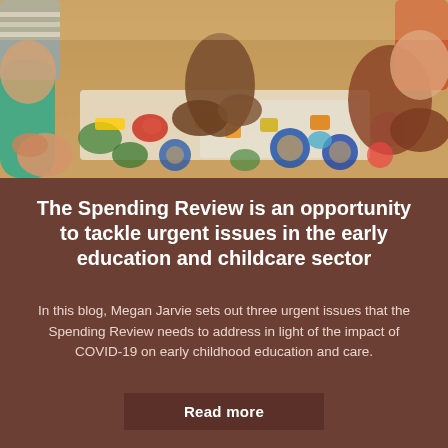[Figure (photo): Photograph of children and adult hands working with colorful educational toys and shapes on a table in a childcare/early education setting.]
The Spending Review is an opportunity to tackle urgent issues in the early education and childcare sector
In this blog, Megan Jarvie sets out three urgent issues that the Spending Review needs to address in light of the impact of COVID-19 on early childhood education and care.
Read more